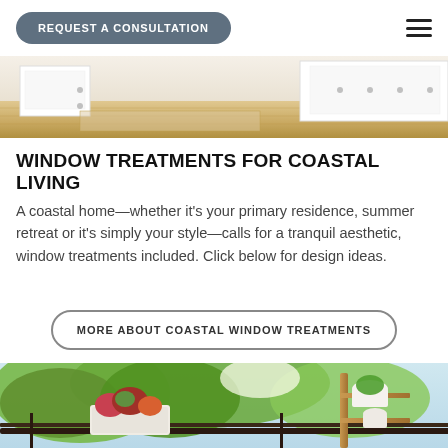REQUEST A CONSULTATION
[Figure (photo): Interior room photo showing light wood flooring and white cabinetry with silver knobs]
WINDOW TREATMENTS FOR COASTAL LIVING
A coastal home—whether it's your primary residence, summer retreat or it's simply your style—calls for a tranquil aesthetic, window treatments included. Click below for design ideas.
MORE ABOUT COASTAL WINDOW TREATMENTS
[Figure (photo): Outdoor balcony with lush green trees in background, colorful flowers in white rectangular planters on dark railing, and a wooden shelving unit with potted plants on the right side]